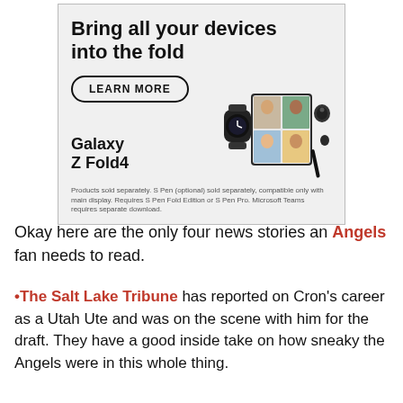[Figure (other): Samsung Galaxy Z Fold4 advertisement. Shows headline 'Bring all your devices into the fold', a 'LEARN MORE' button, product name 'Galaxy Z Fold4', and images of a smartwatch, folded phone with video call, and earbuds. Disclaimer text at bottom.]
Okay here are the only four news stories an Angels fan needs to read.
•The Salt Lake Tribune has reported on Cron's career as a Utah Ute and was on the scene with him for the draft. They have a good inside take on how sneaky the Angels were in this whole thing.